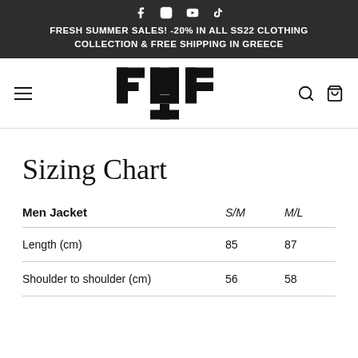FRESH SUMMER SALES! -20% IN ALL SS22 CLOTHING COLLECTION & FREE SHIPPING IN GREECE
[Figure (logo): FMF brand logo — bold geometric M and F lettermark in black]
Sizing Chart
| Men Jacket | S/M | M/L |
| --- | --- | --- |
| Length (cm) | 85 | 87 |
| Shoulder to shoulder (cm) | 56 | 58 |